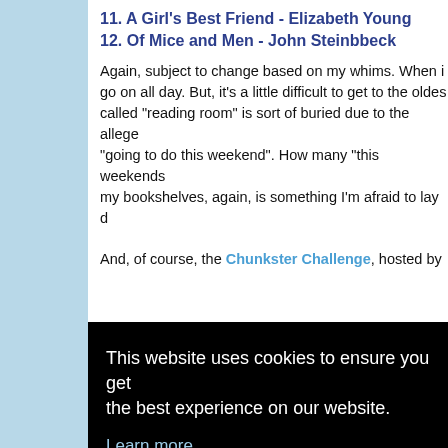11. A Girl's Best Friend - Elizabeth Young
12. Of Mice and Men - John Steinbbeck
Again, subject to change based on my whims. When i... go on all day. But, it's a little difficult to get to the oldes... called "reading room" is sort of buried due to the allege... "going to do this weekend". How many "this weekends... my bookshelves, again, is something I'm afraid to lay d...
And, of course, the Chunkster Challenge, hosted by ...
This website uses cookies to ensure you get the best experience on our website.
Learn more
Got it!
6. The Way the Crow Flies - Anne-Marie McDonald